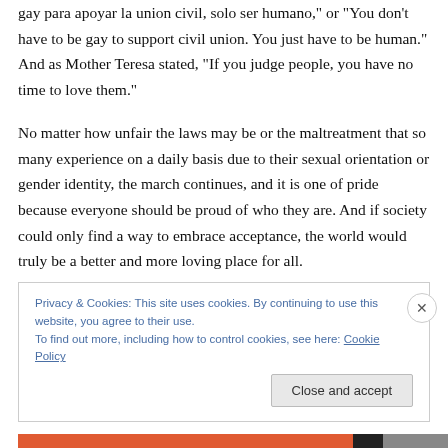gay para apoyar la union civil, solo ser humano," or "You don't have to be gay to support civil union. You just have to be human." And as Mother Teresa stated, "If you judge people, you have no time to love them."
No matter how unfair the laws may be or the maltreatment that so many experience on a daily basis due to their sexual orientation or gender identity, the march continues, and it is one of pride because everyone should be proud of who they are. And if society could only find a way to embrace acceptance, the world would truly be a better and more loving place for all.
Privacy & Cookies: This site uses cookies. By continuing to use this website, you agree to their use.
To find out more, including how to control cookies, see here: Cookie Policy
Close and accept